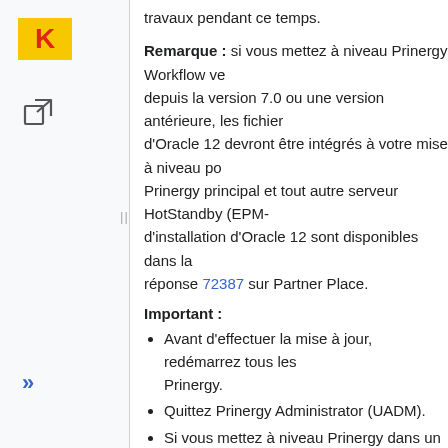[Figure (logo): Kodak logo: yellow rectangle with red K letter]
[Figure (illustration): External link icon (square with arrow)]
[Figure (illustration): Double right-arrow navigation icon in blue]
travaux pendant ce temps.
Remarque : si vous mettez à niveau Prinergy Workflow ve... depuis la version 7.0 ou une version antérieure, les fichier... d'Oracle 12 devront être intégrés à votre mise à niveau po... Prinergy principal et tout autre serveur HotStandby (EPM-... d'installation d'Oracle 12 sont disponibles dans la réponse 72387 sur Partner Place.
Important :
Avant d'effectuer la mise à jour, redémarrez tous les... Prinergy.
Quittez Prinergy Administrator (UADM).
Si vous mettez à niveau Prinergy dans un déploiem... un instantané du déploiement VOE Prinergy juste a... à la mise à niveau. La création d'un instantané cons... rapide de développer un point de restauration vers ... opérationnel si la mise à niveau échoue pour une ra... autre. En cas de problème, il sera facile de restaure... pour remettre le système en ligne.
Lorsque vous mettez à niveau un serveur secondai... d'abord mettre à niveau le serveur principal. Si le sy... d'un serveur secondaire configuré comme serveur...